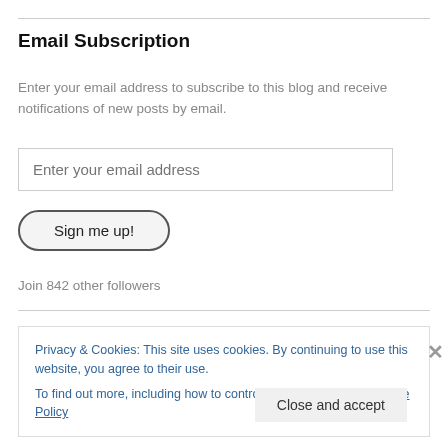Email Subscription
Enter your email address to subscribe to this blog and receive notifications of new posts by email.
Enter your email address
Sign me up!
Join 842 other followers
Privacy & Cookies: This site uses cookies. By continuing to use this website, you agree to their use.
To find out more, including how to control cookies, see here: Cookie Policy
Close and accept